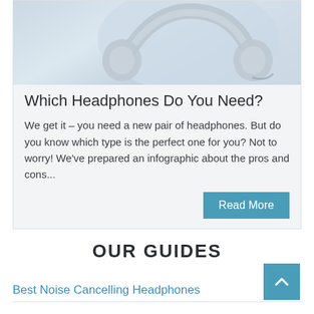[Figure (photo): White over-ear headphones on a light blue-grey background, viewed from above at an angle]
Which Headphones Do You Need?
We get it – you need a new pair of headphones. But do you know which type is the perfect one for you? Not to worry! We've prepared an infographic about the pros and cons...
OUR GUIDES
Best Noise Cancelling Headphones